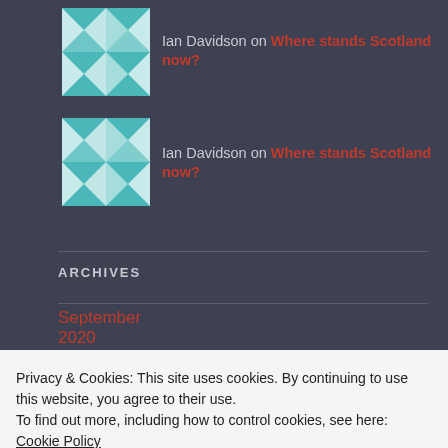[Figure (illustration): Teal and white geometric quilt pattern avatar for Ian Davidson (top)]
Ian Davidson on Where stands Scotland now?
[Figure (illustration): Teal and white geometric quilt pattern avatar for Ian Davidson (bottom)]
Ian Davidson on Where stands Scotland now?
ARCHIVES
September 2020
Privacy & Cookies: This site uses cookies. By continuing to use this website, you agree to their use.
To find out more, including how to control cookies, see here: Cookie Policy
Close and accept